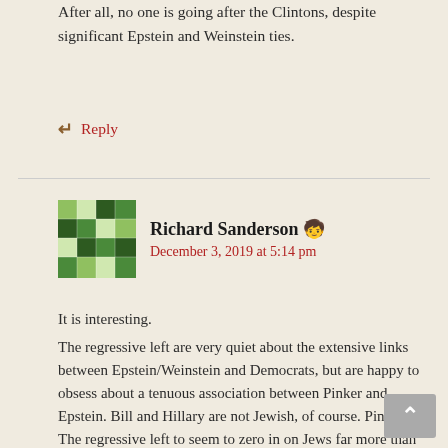After all, no one is going after the Clintons, despite significant Epstein and Weinstein ties.
↵ Reply
Richard Sanderson 🧒
December 3, 2019 at 5:14 pm
It is interesting.
The regressive left are very quiet about the extensive links between Epstein/Weinstein and Democrats, but are happy to obsess about a tenuous association between Pinker and Epstein. Bill and Hillary are not Jewish, of course. Pinker is. The regressive left to seem to zero in on Jews far more than most.
The Far Right, on the other hand, are obsessed with the Clinton's and Epstein/Weinstein.